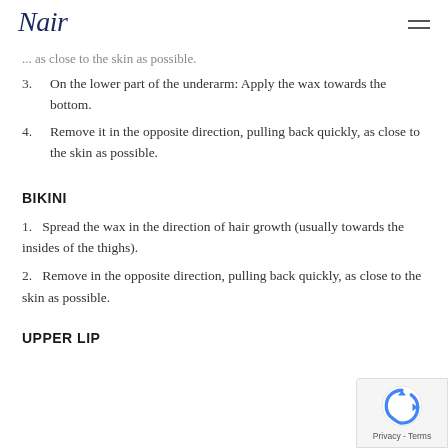Nair
... as close to the skin as possible.
3. On the lower part of the underarm: Apply the wax towards the bottom.
4. Remove it in the opposite direction, pulling back quickly, as close to the skin as possible.
BIKINI
1. Spread the wax in the direction of hair growth (usually towards the insides of the thighs).
2. Remove in the opposite direction, pulling back quickly, as close to the skin as possible.
UPPER LIP